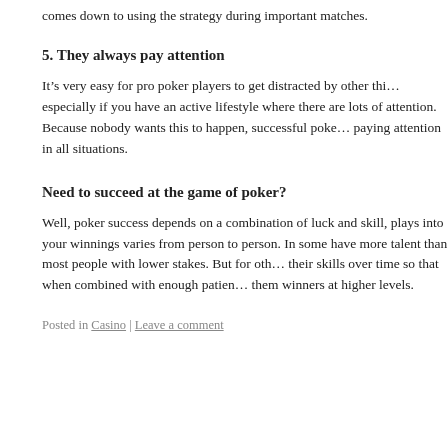comes down to using the strategy during important matches.
5. They always pay attention
It’s very easy for pro poker players to get distracted by other things, especially if you have an active lifestyle where there are lots of attention. Because nobody wants this to happen, successful poker players pay attention in all situations.
Need to succeed at the game of poker?
Well, poker success depends on a combination of luck and skill, and how each plays into your winnings varies from person to person. In some cases, you may have more talent than most people with lower stakes. But for others, they improve their skills over time so that when combined with enough patience, it can make them winners at higher levels.
Posted in Casino | Leave a comment